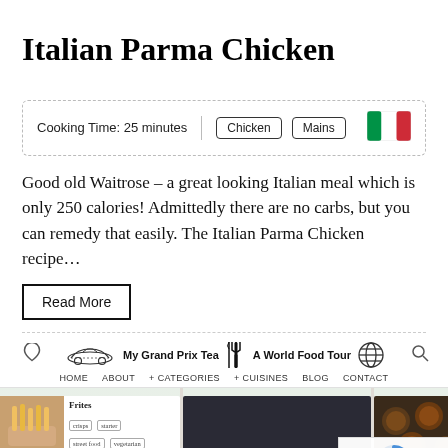Italian Parma Chicken
| Cooking Time: 25 minutes | Chicken | Mains | 🇮🇹 |
Good old Waitrose – a great looking Italian meal which is only 250 calories! Admittedly there are no carbs, but you can remedy that easily. The Italian Parma Chicken recipe…
Read More
[Figure (screenshot): Website navigation bar with car racing logo 'My Grand Prix Tea', fork and knife icon, 'A World Food Tour' text with globe icon, heart icon and search icon on sides. Menu items: HOME, ABOUT, + CATEGORIES, + CUISINES, BLOG, CONTACT. Below is a preview strip showing food blog cards: Frites with tags, a salmon/canapé dish, and Brigadeiro chocolates, plus a reCAPTCHA widget.]